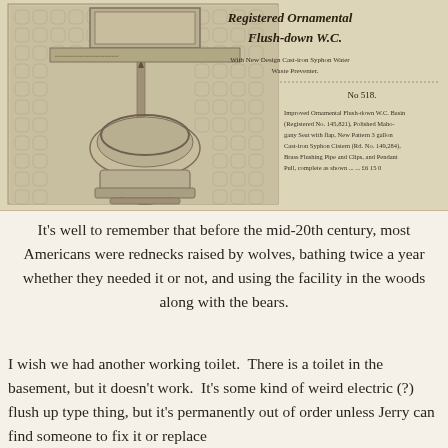[Figure (illustration): Vintage Victorian-era advertisement illustration for a 'Registered Ornamental Flush-down W.C.' showing an ornamental toilet with hexagonal tile surround, cistern, and product details. Text includes: 'Registered Ornamental Flush-down W.C.', 'With New Design Cast-iron Syphon Water Waste Preventer.', 'No 518.', 'Improved Ornamental Flush-down W.C. Basin (Registered No. 145,821), Polished Mahogany Seat with flap, New Pattern 3 gallon Cast-iron Syphon Cistern (Rd. No. 149,284), Brass Flushing Pipe and Clips, and Pendant Pull, complete as shown ... ... £6 15 0']
It's well to remember that before the mid-20th century, most Americans were rednecks raised by wolves, bathing twice a year whether they needed it or not, and using the facility in the woods along with the bears.
I wish we had another working toilet. There is a toilet in the basement, but it doesn't work. It's some kind of weird electric (?) flush up type thing, but it's permanently out of order unless Jerry can find someone to fix it or replace